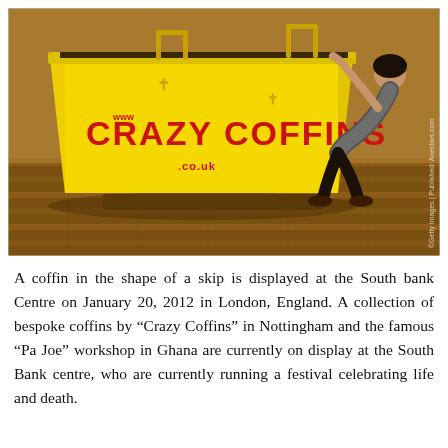[Figure (photo): A yellow skip-shaped coffin branded 'www.CRAZY COFFINS.co.uk' displayed on a wooden floor. A person is bending over and looking inside the open top of the skip coffin. The coffin is bright yellow with red text. Getty Images watermark visible.]
A coffin in the shape of a skip is displayed at the South bank Centre on January 20, 2012 in London, England. A collection of bespoke coffins by "Crazy Coffins" in Nottingham and the famous "Pa Joe" workshop in Ghana are currently on display at the South Bank centre, who are currently running a festival celebrating life and death.